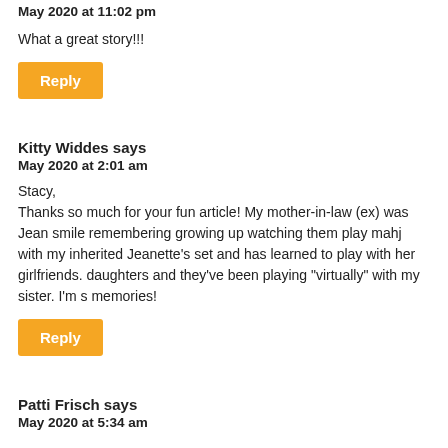May 2020 at 11:02 pm
What a great story!!!
Reply
Kitty Widdes says
May 2020 at 2:01 am
Stacy,
Thanks so much for your fun article! My mother-in-law (ex) was Jean smile remembering growing up watching them play mahj with my inherited Jeanette's set and has learned to play with her girlfriends. daughters and they've been playing “virtually” with my sister. I’m s memories!
Reply
Patti Frisch says
May 2020 at 5:34 am